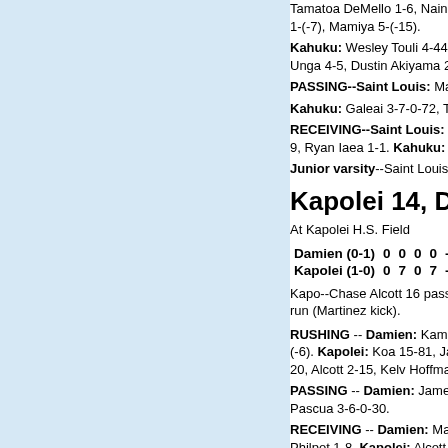Tamatoa DeMello 1-6, Nainoa Tampos 1-4, Evan Fujihara 1, Austin Wakinekona 1-(-7), Mamiya 5-(-15).
Kahuku: Wesley Touli 4-44, Mataafa 14-36, St. John Lessa Keanu 1-8, Kaliki Unga 4-5, Dustin Akiyama 2-4, Galeai 9- Siatima Tapusoa 7-(-6).
PASSING--Saint Louis: Mamiya 13-28-0-136.
Kahuku: Galeai 3-7-0-72, Tapusoa 4-8-1-25.
RECEIVING--Saint Louis: Stutzmann 6-23, Gonsalves 3-8 Micah McClinton 1-9, Ryan Iaea 1-1. Kahuku: Jordan Kam Ching 2-14 Maafala 1-16.
Junior varsity--Saint Louis 47, Kahuku 14.
Kapolei 14, Damien 0
At Kapolei H.S. Field
| Team | Q1 | Q2 | Q3 | Q4 | Final |
| --- | --- | --- | --- | --- | --- |
| Damien (0-1) | 0 | 0 | 0 | 0 | -- | 0 |
| Kapolei (1-0) | 0 | 7 | 0 | 7 | -- | 14 |
Kapo--Chase Alcott 16 pass from Mason Koa (Nacho Marti Kapo--Cyril Ontai 22 run (Martinez kick).
RUSHING -- Damien: Kama Bailey 22-79, J.J. Kaina 2-20, Stanton Pilialoha 1-(-6). Kapolei: Koa 15-81, Jason Recam 30, Brian Tabion 3-21, Noah Pascua 3-20, Alcott 2-15, Kelv Hoffman 1-2, Chad Lopati 2-2.
PASSING -- Damien: James Skizowski 6-27-1-52, Pilialoh Koa 13-22-3-120, Pascua 3-6-0-30.
RECEIVING -- Damien: Makana Kaanoi 4-30, Bailey 2-17, Anders 1-11, Shane Philpot 1-8. Kapolei: Alcott 6-48, Curt P... 2-24, K... 2-27, T... K... L... 2-12...